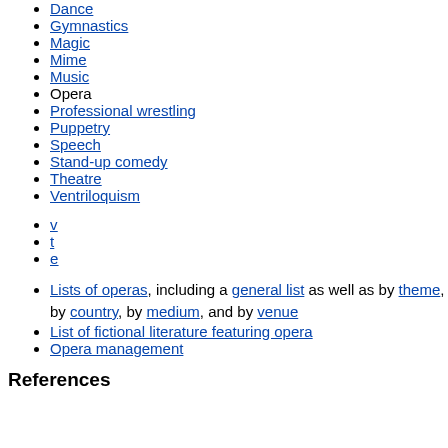Dance
Gymnastics
Magic
Mime
Music
Opera
Professional wrestling
Puppetry
Speech
Stand-up comedy
Theatre
Ventriloquism
v
t
e
Lists of operas, including a general list as well as by theme, by country, by medium, and by venue
List of fictional literature featuring opera
Opera management
References